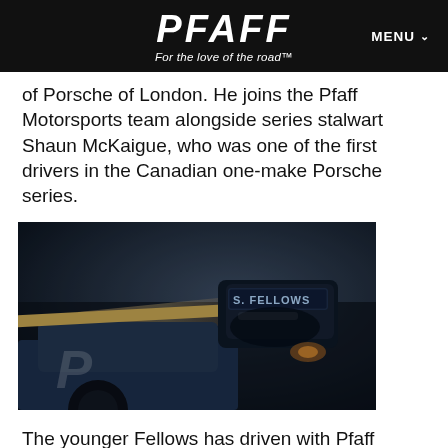PFAFF — For the love of the road™ | MENU
of Porsche of London. He joins the Pfaff Motorsports team alongside series stalwart Shaun McKaigue, who was one of the first drivers in the Canadian one-make Porsche series.
[Figure (photo): Close-up photo of a racing car with 'S. FELLOWS' name tag visible on the cockpit, Pfaff branding on the bodywork, dark moody lighting]
The younger Fellows has driven with Pfaff Motorsports before, driving a BMW M235i Racing in